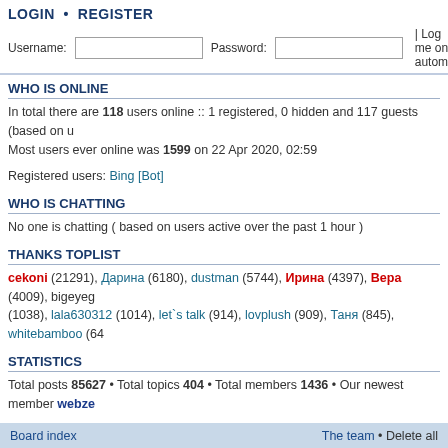LOGIN • REGISTER
Username:  Password:  | Log me on autom
WHO IS ONLINE
In total there are 118 users online :: 1 registered, 0 hidden and 117 guests (based on u Most users ever online was 1599 on 22 Apr 2020, 02:59
Registered users: Bing [Bot]
WHO IS CHATTING
No one is chatting ( based on users active over the past 1 hour )
THANKS TOPLIST
cekoni (21291), Дарина (6180), dustman (5744), Ирина (4397), Вера (4009), bigeyeg (1038), lala630312 (1014), let`s talk (914), lovplush (909), Таня (845), whitebamboo (64
STATISTICS
Total posts 85627 • Total topics 404 • Total members 1436 • Our newest member webze
Board index   The team • Delete all
Евгений Плющенко©
[Figure (logo): LiveInternet statistics badge and Rambler Top 100 participant badge, and Рейтинг@ link]